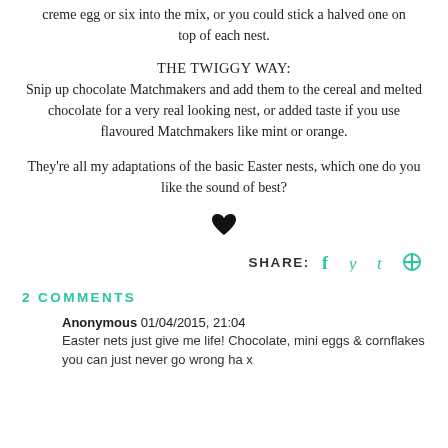creme egg or six into the mix, or you could stick a halved one on top of each nest.
THE TWIGGY WAY:
Snip up chocolate Matchmakers and add them to the cereal and melted chocolate for a very real looking nest, or added taste if you use flavoured Matchmakers like mint or orange.
They're all my adaptations of the basic Easter nests, which one do you like the sound of best?
[Figure (other): A heart symbol used as a decorative divider]
SHARE: [Facebook, Twitter, Tumblr, Pinterest icons]
2 COMMENTS
Anonymous 01/04/2015, 21:04
Easter nets just give me life! Chocolate, mini eggs & cornflakes you can just never go wrong ha x